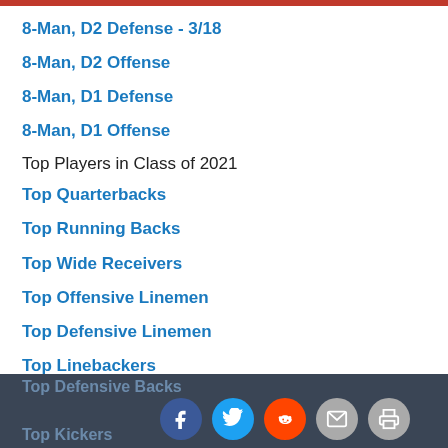8-Man, D2 Defense - 3/18
8-Man, D2 Offense
8-Man, D1 Defense
8-Man, D1 Offense
Top Players in Class of 2021
Top Quarterbacks
Top Running Backs
Top Wide Receivers
Top Offensive Linemen
Top Defensive Linemen
Top Linebackers
Top Defensive Backs  Top Kickers
[Figure (infographic): Social share icons: Facebook, Twitter, Reddit, Email, Print]